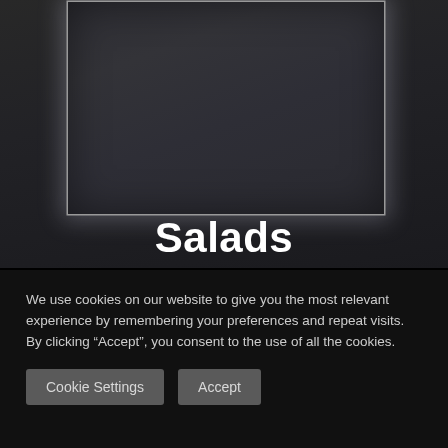[Figure (photo): Dark chalkboard or metallic panel with glowing edges, set against a dark brushed background]
Salads
We use cookies on our website to give you the most relevant experience by remembering your preferences and repeat visits. By clicking “Accept”, you consent to the use of all the cookies.
Cookie Settings
Accept